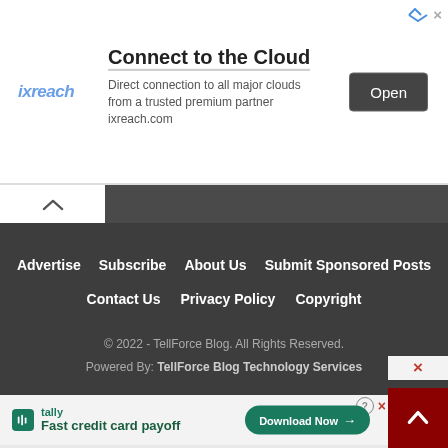[Figure (screenshot): Advertisement banner for ixreach showing 'Connect to the Cloud' with Open button]
[Figure (screenshot): Website footer navigation with dark background showing Advertise, Subscribe, About Us, Submit Sponsored Posts, Contact Us, Privacy Policy, Copyright links]
© 2022 - TellForce Blog. All Rights Reserved.
Powered By: TellForce Blog Technology Services
[Figure (screenshot): Tally advertisement: Fast credit card payoff with Download Now button]
[Figure (screenshot): Dark red scroll-to-top button with up arrow in bottom right corner]